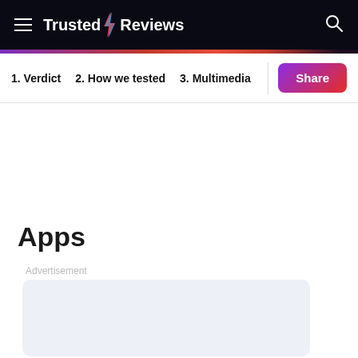Trusted Reviews
1. Verdict
2. How we tested
3. Multimedia
Apps
Advertisement